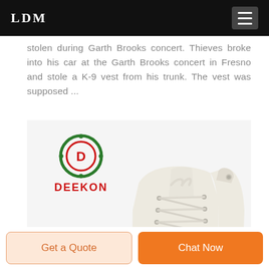LDM
stolen during Garth Brooks concert. Thieves broke into his car at the Garth Brooks concert in Fresno and stole a K-9 vest from his trunk. The vest was supposed ...
[Figure (photo): Product photo of a cream/off-white high-top canvas sneaker with laces and Deekon brand logo (circular emblem with letter D and DEEKON text in red)]
Get a Quote
Chat Now